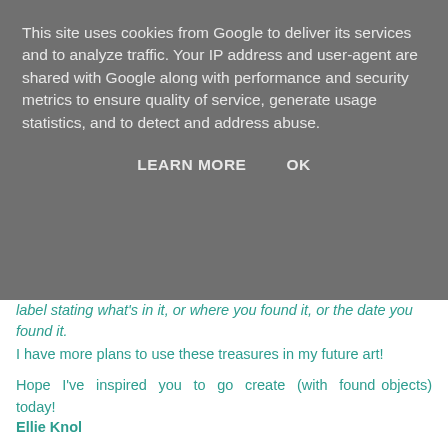This site uses cookies from Google to deliver its services and to analyze traffic. Your IP address and user-agent are shared with Google along with performance and security metrics to ensure quality of service, generate usage statistics, and to detect and address abuse.
LEARN MORE    OK
label stating what's in it, or where you found it, or the date you found it.
I have more plans to use these treasures in my future art!
Hope I've inspired you to go create (with found objects) today!
Ellie Knol
Blog: http://elliecreahoekje.blogspot.nl/
        http://ellieatcs.blogspot.nl/
Owner of
: https://www.facebook.com/groups/DutchArtJournal/
Facebook: https://www.facebook.com/profile.php?id=100008479362838
Pinterest: https://nl.pinterest.com/ellieknol/